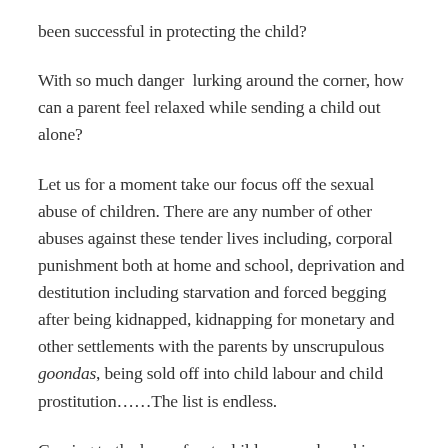been successful in protecting the child?
With so much danger lurking around the corner, how can a parent feel relaxed while sending a child out alone?
Let us for a moment take our focus off the sexual abuse of children. There are any number of other abuses against these tender lives including, corporal punishment both at home and school, deprivation and destitution including starvation and forced begging after being kidnapped, kidnapping for monetary and other settlements with the parents by unscrupulous goondas, being sold off into child labour and child prostitution……The list is endless.
Coming to the home front, children are abused in a different way. What would you call it when a child is